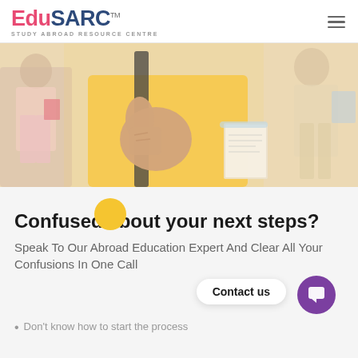EduSARC™ — STUDY ABROAD RESOURCE CENTRE
[Figure (photo): A student in a yellow shirt giving a thumbs up while holding a book, with other students walking in the background outdoors.]
Confused about your next steps?
Speak To Our Abroad Education Expert And Clear All Your Confusions In One Call
Don't know how to start the process